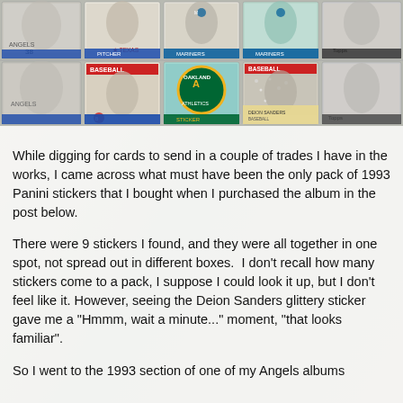[Figure (photo): Grid of baseball cards and stickers — two rows of five cards each, showing various baseball players and team logos including Oakland Athletics. Cards appear to be from early 1990s sets.]
While digging for cards to send in a couple of trades I have in the works, I came across what must have been the only pack of 1993 Panini stickers that I bought when I purchased the album in the post below.
There were 9 stickers I found, and they were all together in one spot, not spread out in different boxes.  I don't recall how many stickers come to a pack, I suppose I could look it up, but I don't feel like it. However, seeing the Deion Sanders glittery sticker gave me a "Hmmm, wait a minute..." moment, "that looks familiar".
So I went to the 1993 section of one of my Angels albums